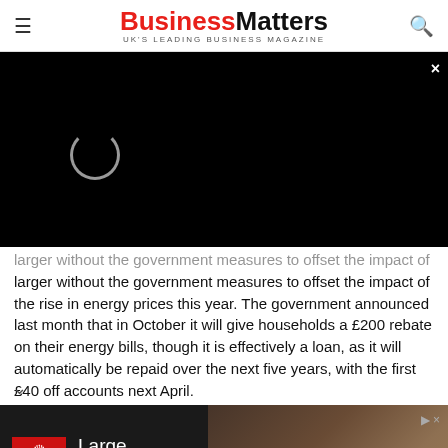Business Matters — UK'S LEADING BUSINESS MAGAZINE
[Figure (screenshot): Black video player area with loading spinner and close button (×) in top right corner]
larger without the government measures to offset the impact of the rise in energy prices this year. The government announced last month that in October it will give households a £200 rebate on their energy bills, though it is effectively a loan, as it will automatically be repaid over the next five years, with the first £40 off accounts next April.
[Figure (infographic): King Oil Tools advertisement banner: Large Inventory of Drill Rig Equipment →]